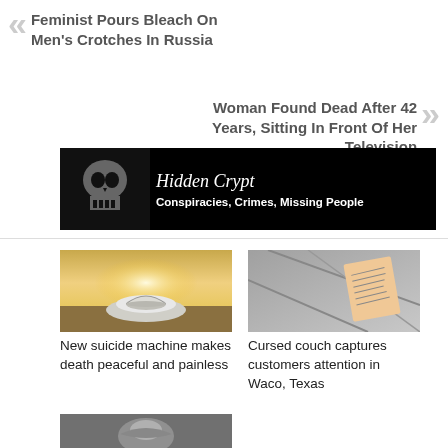« Feminist Pours Bleach On Men's Crotches In Russia
Woman Found Dead After 42 Years, Sitting In Front Of Her Television »
[Figure (other): Hidden Crypt banner ad — black background with skull image, white text reading 'Hidden Crypt' in serif font and 'Conspiracies, Crimes, Missing People' in bold sans-serif]
[Figure (photo): Photo of a white pod-shaped machine lying on desert ground with bright sunlight in background]
New suicide machine makes death peaceful and painless
[Figure (photo): Photo of a grey couch/sofa cushion with an orange note or tag placed on it]
Cursed couch captures customers attention in Waco, Texas
[Figure (photo): Partial photo at bottom of page, dark/greyscale image, content partially visible]